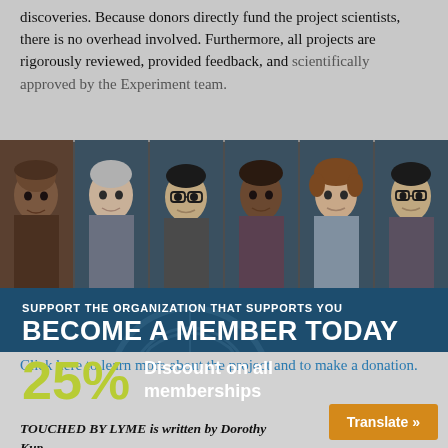discoveries. Because donors directly fund the project scientists, there is no overhead involved. Furthermore, all projects are rigorously reviewed, provided feedback, and scientifically approved by the Experiment team.
[Figure (photo): Strip of six diverse people's portrait headshots on a blue-grey background, separated by vertical dividers.]
[Figure (infographic): Blue banner advertisement reading: SUPPORT THE ORGANIZATION THAT SUPPORTS YOU / BECOME A MEMBER TODAY / 25% Discount on all memberships, with a watermark circular logo.]
Click here to learn more about the project and to make a donation.
TOUCHED BY LYME is written by Dorothy Kup